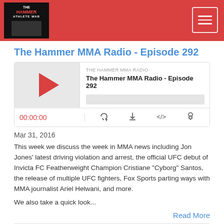The Hammer MMA Radio (logo/header bar)
The Hammer MMA Radio - Episode 292
[Figure (screenshot): Podcast player widget showing play button, episode title 'The Hammer MMA Radio - Episode 292', progress bar, timestamp 00:00:00, and control icons for RSS, download, embed, and settings]
Mar 31, 2016
This week we discuss the week in MMA news including Jon Jones' latest driving violation and arrest, the official UFC debut of Invicta FC Featherweight Champion Cristiane "Cyborg" Santos, the release of multiple UFC fighters, Fox Sports parting ways with MMA journalist Ariel Helwani, and more.
We also take a quick look...
Read More
The Hammer MMA Radio - Episode 291